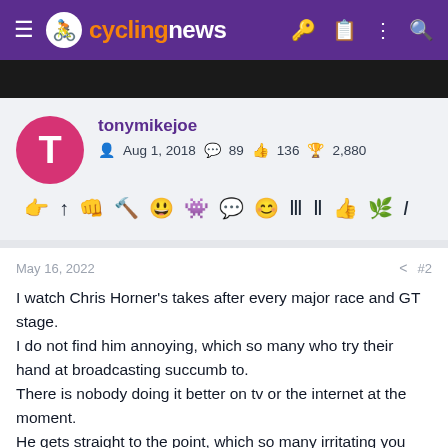cyclingnews
tonymikejoe
Aug 1, 2018  89  136  2,880
May 16, 2022  #2
I watch Chris Horner's takes after every major race and GT stage. I do not find him annoying, which so many who try their hand at broadcasting succumb to.
There is nobody doing it better on tv or the internet at the moment.
He gets straight to the point, which so many irritating you tubers constantly fail to and he wraps things up very quickly and efficiently.